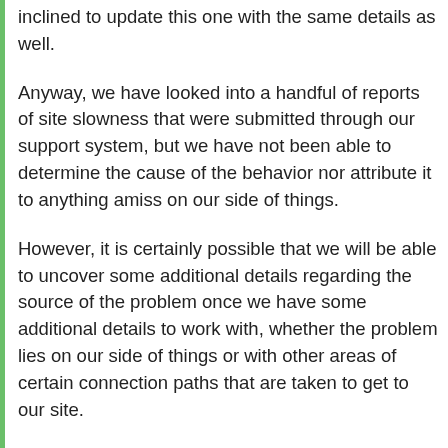inclined to update this one with the same details as well.
Anyway, we have looked into a handful of reports of site slowness that were submitted through our support system, but we have not been able to determine the cause of the behavior nor attribute it to anything amiss on our side of things.
However, it is certainly possible that we will be able to uncover some additional details regarding the source of the problem once we have some additional details to work with, whether the problem lies on our side of things or with other areas of certain connection paths that are taken to get to our site.
If you are still experiencing this problem , please contact our customer support team by mousing